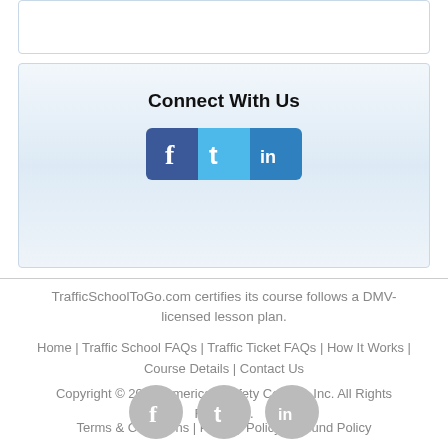[Figure (screenshot): Top partial box element (clipped from above)]
Connect With Us
[Figure (infographic): Social media icons: Facebook (blue f), Twitter (light blue t), LinkedIn (blue in)]
TrafficSchoolToGo.com certifies its course follows a DMV-licensed lesson plan.
Home | Traffic School FAQs | Traffic Ticket FAQs | How It Works | Course Details | Contact Us
Copyright © 2022, American Safety Council, Inc. All Rights Reserved.
Terms & Conditions | Privacy Policy | Refund Policy
[Figure (infographic): Three gray circular social media icons: Facebook, Twitter, LinkedIn]